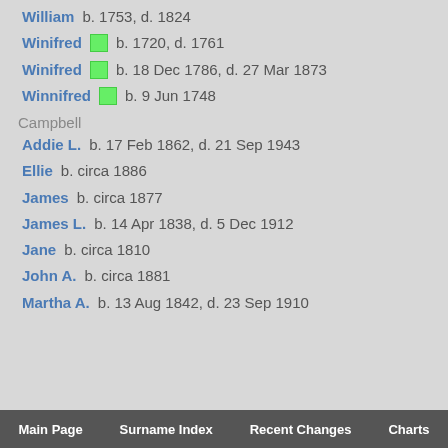William  b. 1753, d. 1824
Winifred  b. 1720, d. 1761
Winifred  b. 18 Dec 1786, d. 27 Mar 1873
Winnifred  b. 9 Jun 1748
Campbell
Addie L.  b. 17 Feb 1862, d. 21 Sep 1943
Ellie  b. circa 1886
James  b. circa 1877
James L.  b. 14 Apr 1838, d. 5 Dec 1912
Jane  b. circa 1810
John A.  b. circa 1881
Martha A.  b. 13 Aug 1842, d. 23 Sep 1910
Main Page   Surname Index   Recent Changes   Charts